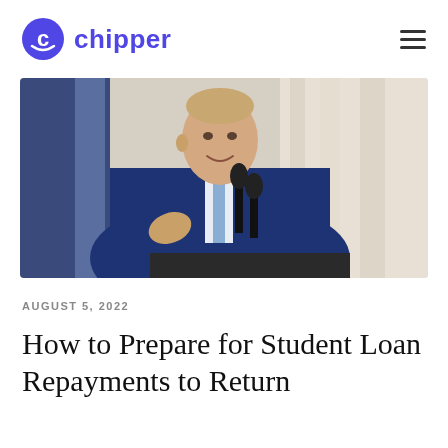chipper
[Figure (photo): A man in a dark blue suit speaking at a podium with microphones, gesturing with one hand, with an American flag visible in the background.]
AUGUST 5, 2022
How to Prepare for Student Loan Repayments to Return